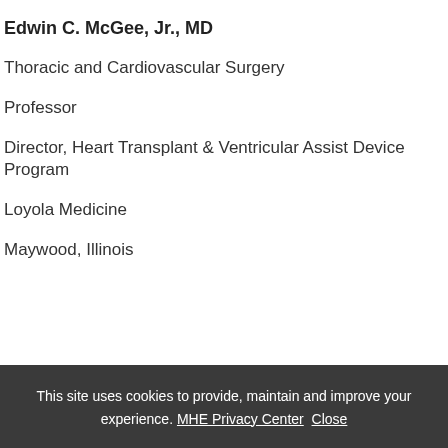Edwin C. McGee, Jr., MD
Thoracic and Cardiovascular Surgery
Professor
Director, Heart Transplant & Ventricular Assist Device Program
Loyola Medicine
Maywood, Illinois
This site uses cookies to provide, maintain and improve your experience. MHE Privacy Center Close